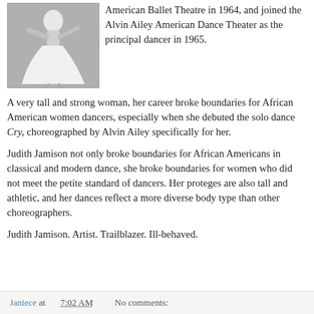[Figure (photo): Black and white photograph of a dancer in a flowing white dress or skirt, in motion.]
American Ballet Theatre in 1964, and joined the Alvin Ailey American Dance Theater as the principal dancer in 1965.
A very tall and strong woman, her career broke boundaries for African American women dancers, especially when she debuted the solo dance Cry, choreographed by Alvin Ailey specifically for her.
Judith Jamison not only broke boundaries for African Americans in classical and modern dance, she broke boundaries for women who did not meet the petite standard of dancers. Her proteges are also tall and athletic, and her dances reflect a more diverse body type than other choreographers.
Judith Jamison. Artist. Trailblazer. Ill-behaved.
Janiece at 7:02 AM   No comments: